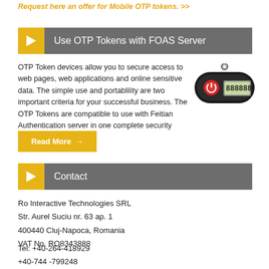Request here an offer for Mobile OTP tokens. >>
Use OTP Tokens with FOAS Server
OTP Token devices allow you to secure access to web pages, web applications and online sensitive data. The simple use and portablility are two important criteria for your successful business. The OTP Tokens are compatible to use with Feitian Authentication server in one complete security solution!
[Figure (photo): OTP token device - small black oval keychain-sized device with a power button and digital display showing a numeric code]
Read More →
Contact
Ro Interactive Technologies SRL
Str. Aurel Suciu nr. 63 ap. 1
400440 Cluj-Napoca, Romania
VAT No. RO8343888
Tel: +40-264-418929
     +40-744 -799248